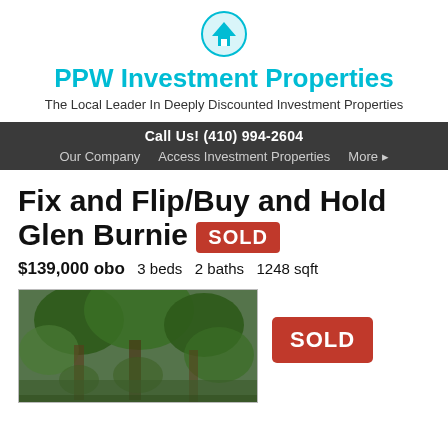[Figure (logo): PPW Investment Properties circular house logo icon in teal/cyan]
PPW Investment Properties
The Local Leader In Deeply Discounted Investment Properties
Call Us! (410) 994-2604 | Our Company | Access Investment Properties | More ▸
Fix and Flip/Buy and Hold Glen Burnie SOLD
$139,000 obo   3 beds   2 baths   1248 sqft
[Figure (photo): Exterior photo of property with trees]
SOLD